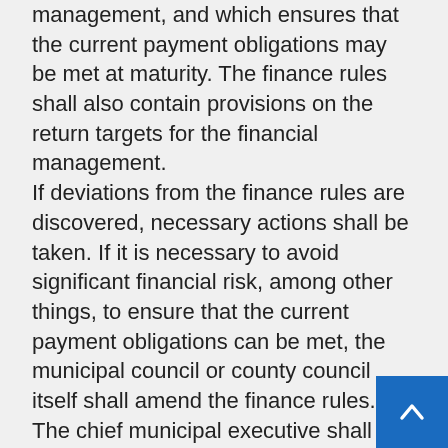management, and which ensures that the current payment obligations may be met at maturity. The finance rules shall also contain provisions on the return targets for the financial management. If deviations from the finance rules are discovered, necessary actions shall be taken. If it is necessary to avoid significant financial risk, among other things, to ensure that the current payment obligations can be met, the municipal council or county council itself shall amend the finance rules. The chief municipal executive shall report at least twice a year to the municipal council or the county council regarding the management of financial assets and debt. In addition, after the end of the year, the chief municipal executive shall present a report showing the developments throughout the year and the status at year-end. Before municipalities and county authorities enter into agreements, they shall document to the contracting party